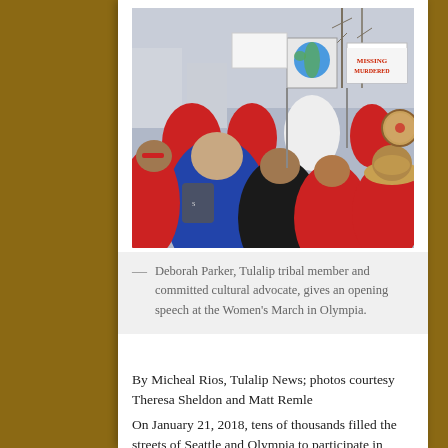[Figure (photo): Crowd of people at a march, many dressed in red, holding protest signs including one with a globe and text about the earth. A person with a drum is visible on the right.]
— Deborah Parker, Tulalip tribal member and committed cultural advocate, gives an opening speech at the Women's March in Olympia.
By Micheal Rios, Tulalip News; photos courtesy Theresa Sheldon and Matt Remle
On January 21, 2018, tens of thousands filled the streets of Seattle and Olympia to participate in the Women's